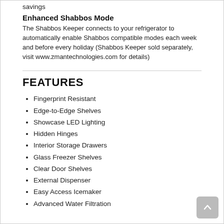savings
Enhanced Shabbos Mode
The Shabbos Keeper connects to your refrigerator to automatically enable Shabbos compatible modes each week and before every holiday (Shabbos Keeper sold separately, visit www.zmantechnologies.com for details)
FEATURES
Fingerprint Resistant
Edge-to-Edge Shelves
Showcase LED Lighting
Hidden Hinges
Interior Storage Drawers
Glass Freezer Shelves
Clear Door Shelves
External Dispenser
Easy Access Icemaker
Advanced Water Filtration